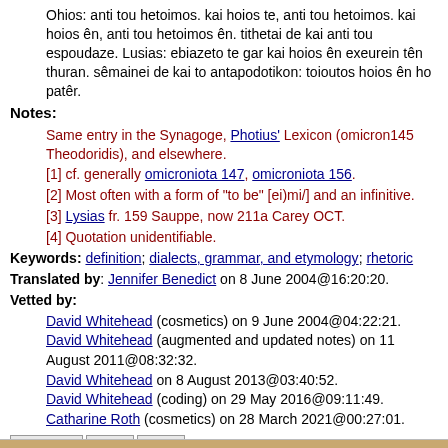Ohios: anti tou hetoimos. kai hoios te, anti tou hetoimos. kai hoios ên, anti tou hetoimos ên. tithetai de kai anti tou espoudaze. Lusias: ebiazeto te gar kai hoios ên exeurein tên thuran. sêmainei de kai to antapodotikon: toioutos hoios ên ho patêr.
Notes:
Same entry in the Synagoge, Photius' Lexicon (omicron145 Theodoridis), and elsewhere.
[1] cf. generally omicroniota 147, omicroniota 156.
[2] Most often with a form of "to be" [ei)mi/] and an infinitive.
[3] Lysias fr. 159 Sauppe, now 211a Carey OCT.
[4] Quotation unidentifiable.
Keywords: definition; dialects, grammar, and etymology; rhetoric
Translated by: Jennifer Benedict on 8 June 2004@16:20:20.
Vetted by:
David Whitehead (cosmetics) on 9 June 2004@04:22:21.
David Whitehead (augmented and updated notes) on 11 August 2011@08:32:32.
David Whitehead on 8 August 2013@03:40:52.
David Whitehead (coding) on 29 May 2016@09:11:49.
Catharine Roth (cosmetics) on 28 March 2021@00:27:01.